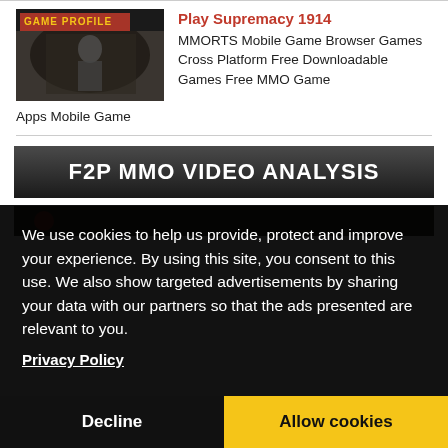[Figure (screenshot): Game profile image for Supremacy 1914 showing a soldier figure]
Play Supremacy 1914
MMORTS Mobile Game Browser Games Cross Platform Free Downloadable Games Free MMO Game Apps Mobile Game
F2P MMO VIDEO ANALYSIS
[Figure (screenshot): Video thumbnail, partially visible]
We use cookies to help us provide, protect and improve your experience. By using this site, you consent to this use. We also show targeted advertisements by sharing your data with our partners so that the ads presented are relevant to you.
Privacy Policy
Decline
Allow cookies